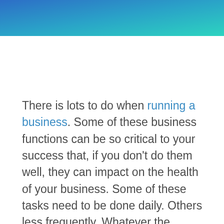[Figure (illustration): Decorative gradient header banner transitioning from blue on the left to teal/cyan on the right]
There is lots to do when running a business. Some of these business functions can be so critical to your success that, if you don't do them well, they can impact on the health of your business. Some of these tasks need to be done daily. Others less frequently. Whatever the frequency, it is vital that you